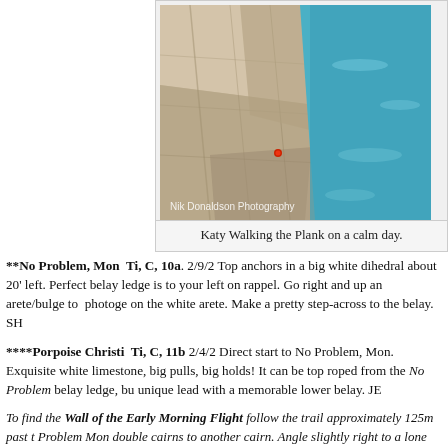[Figure (photo): Aerial/drone photo of a rock climber on a large white limestone cliff face above turquoise water. Photo credit: Nik Donaldson Photography]
Katy Walking the Plank on a calm day.
**No Problem, Mon  Ti, C, 10a. 2/9/2 Top anchors in a big white dihedral about 20' left. Perfect belay ledge is to your left on rappel. Go right and up an arete/bulge to  photoge on the white arete. Make a pretty step-across to the belay. SH
****Porpoise Christi  Ti, C, 11b 2/4/2 Direct start to No Problem, Mon. Exquisite white limestone, big pulls, big holds! It can be top roped from the No Problem belay ledge, bu unique lead with a memorable lower belay. JE
To find the Wall of the Early Morning Flight follow the trail approximately 125m past t Problem Mon double cairns to another cairn. Angle slightly right to a lone bush near the There's also a square, faded-red painted, concrete "DOS" survey marker about 5m to th the routes.
**Holy Huecos Batwo-mon  Ti, Tag, 5.10c 2/14/2 Look for the anchors down low, on t side of large, ugly "V" cleft. Remember Charybdis, the terrifying whirlpool in the Odysse route will make you feel like a Greek hero if the seas are rough.  A hook-shaped rock pr creates an inverted-whirlpool effect and rogue waves can inundate the belay! More tha person has gone through the wash cycle and it's never on "Delicate". After rapping to th of double bolts, look for wet rock below you and examine the surf for a few minutes bef